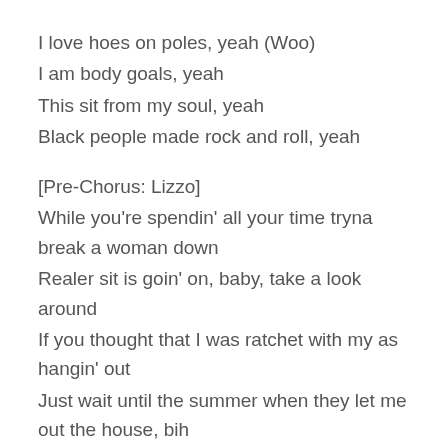I love hoes on poles, yeah (Woo)
I am body goals, yeah
This sit from my soul, yeah
Black people made rock and roll, yeah
[Pre-Chorus: Lizzo]
While you're spendin' all your time tryna break a woman down
Realer sit is goin' on, baby, take a look around
If you thought that I was ratchet with my as hangin' out
Just wait until the summer when they let me out the house, bih